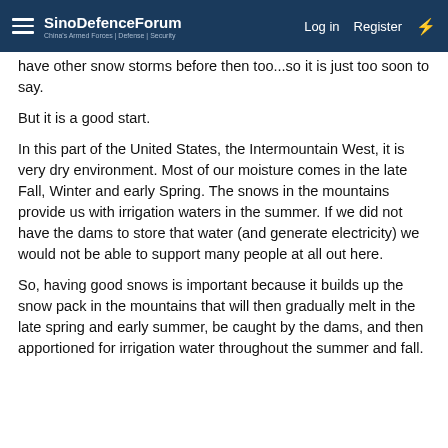SinoDefenceForum | Log in | Register
have other snow storms before then too...so it is just too soon to say.
But it is a good start.
In this part of the United States, the Intermountain West, it is very dry environment. Most of our moisture comes in the late Fall, Winter and early Spring. The snows in the mountains provide us with irrigation waters in the summer. If we did not have the dams to store that water (and generate electricity) we would not be able to support many people at all out here.
So, having good snows is important because it builds up the snow pack in the mountains that will then gradually melt in the late spring and early summer, be caught by the dams, and then apportioned for irrigation water throughout the summer and fall.